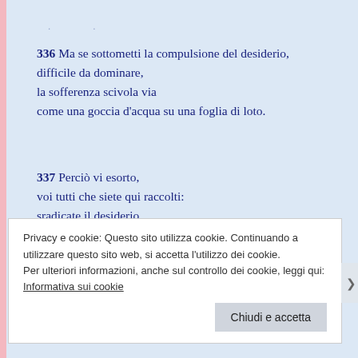• •
336 Ma se sottometti la compulsione del desiderio,
difficile da dominare,
la sofferenza scivola via
come una goccia d'acqua su una foglia di loto.
337 Perciò vi esorto,
voi tutti che siete qui raccolti:
sradicate il desiderio
come si sradica la gramigna
per trovare la radice di usira
Privacy e cookie: Questo sito utilizza cookie. Continuando a utilizzare questo sito web, si accetta l'utilizzo dei cookie.
Per ulteriori informazioni, anche sul controllo dei cookie, leggi qui:
Informativa sui cookie
Chiudi e accetta